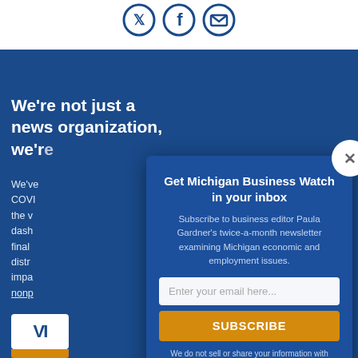[Figure (illustration): Social media icons (Twitter, Facebook, Email) as circular outlined icons on white background]
We're not just a news organization, we're...
We've COVID the v dash final distri impa nonp
[Figure (screenshot): Email subscription modal popup for Michigan Business Watch newsletter with email input field, subscribe button, and close button]
Get Michigan Business Watch in your inbox
Subscribe to business editor Paula Gardner's twice-a-month newsletter examining Michigan economic and employment issues.
Enter your email here...
SUBSCRIBE
We do not sell or share your information with anyone.